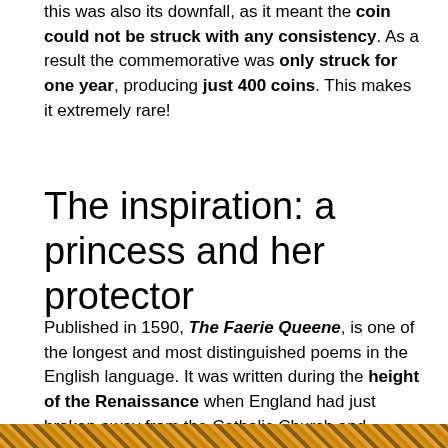this was also its downfall, as it meant the coin could not be struck with any consistency. As a result the commemorative was only struck for one year, producing just 400 coins. This makes it extremely rare!
The inspiration: a princess and her protector
Published in 1590, The Faerie Queene, is one of the longest and most distinguished poems in the English language. It was written during the height of the Renaissance when England had just broken away from the Catholic Church and formed its own Protestant Church. Set against the backdrop of this turbulent religious landscape, The Faerie Queene draws on history and myth to deliver numerous tales of romance, adventure, battles, morality and religion.
[Figure (illustration): Decorative strip image at the bottom of the page, showing an ornate pattern in warm orange, gold, and brown tones.]